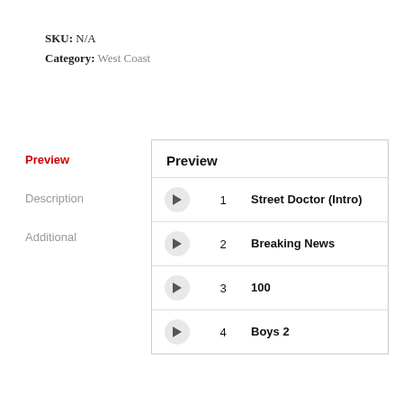SKU: N/A
Category: West Coast
Preview
Description
Additional
|  | Track # | Track Name |
| --- | --- | --- |
| ▶ | 1 | Street Doctor (Intro) |
| ▶ | 2 | Breaking News |
| ▶ | 3 | 100 |
| ▶ | 4 | Boys 2 |